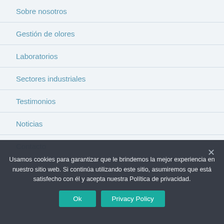Sobre nosotros
Gestión de olores
Laboratorios
Sectores industriales
Testimonios
Noticias
Contacto
Usamos cookies para garantizar que le brindemos la mejor experiencia en nuestro sitio web. Si continúa utilizando este sitio, asumiremos que está satisfecho con él y acepta nuestra Política de privacidad.
Ok
Privacy Policy